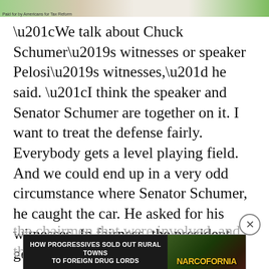[Figure (other): Top advertisement banner strip with green and tan colors and caption 'Paid for by Americans for Tax Reform']
“We talk about Chuck Schumer’s witnesses or speaker Pelosi’s witnesses,” he said. “I think the speaker and Senator Schumer are together on it. I want to treat the defense fairly. Everybody gets a level playing field. And we could end up in a very odd circumstance where Senator Schumer, he caught the car. He asked for his witnesses. In fairness, the president gets his witnesses and we end up hearing from Hunter Biden and Joe Biden, whoever else is on the witness list. Any o
the chairmen that were involved, and the prosecutors who are... because of executive privilege.
[Figure (other): Advertisement banner: 'HOW PROGRESSIVES SOLD OUT RURAL TOWNS TO FOREIGN DRUG LORDS' with NARCOFORNIA branding and WATCH NOW button]